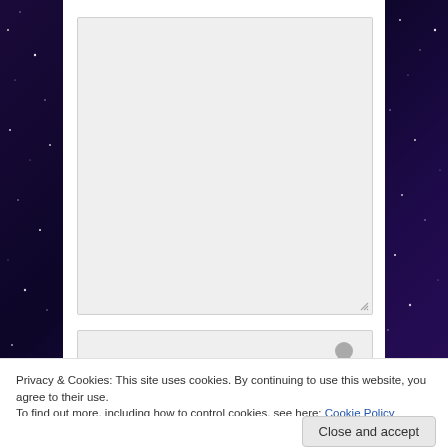[Figure (screenshot): Dark starry/space background on left and right sides of the page, purple and dark blue gradient with white star dots]
[Figure (screenshot): Large gray textarea input box on white panel background]
[Figure (screenshot): Smaller gray input box with a gray user/person avatar icon on the right side]
Privacy & Cookies: This site uses cookies. By continuing to use this website, you agree to their use.
To find out more, including how to control cookies, see here: Cookie Policy
Close and accept